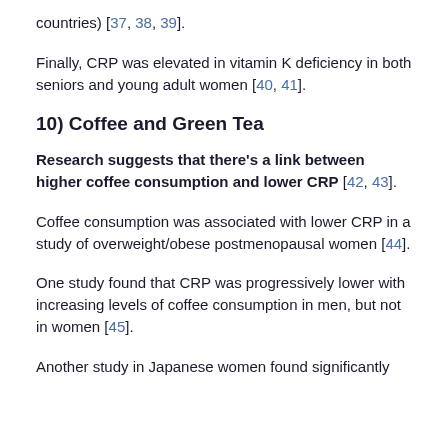countries) [37, 38, 39].
Finally, CRP was elevated in vitamin K deficiency in both seniors and young adult women [40, 41].
10) Coffee and Green Tea
Research suggests that there's a link between higher coffee consumption and lower CRP [42, 43].
Coffee consumption was associated with lower CRP in a study of overweight/obese postmenopausal women [44].
One study found that CRP was progressively lower with increasing levels of coffee consumption in men, but not in women [45].
Another study in Japanese women found significantly